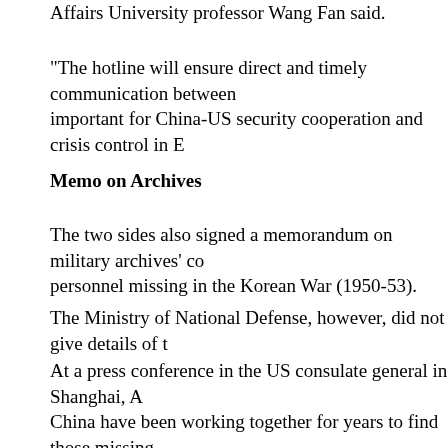Affairs University professor Wang Fan said.
"The hotline will ensure direct and timely communication between important for China-US security cooperation and crisis control in E
Memo on Archives
The two sides also signed a memorandum on military archives' co personnel missing in the Korean War (1950-53).
The Ministry of National Defense, however, did not give details of t
At a press conference in the US consulate general in Shanghai, A China have been working together for years to find those missing
"We have been working with the Chinese government cooperative during which time we have recovered and identified the remains o
"What this arrangement does is to formalize the working relationsh avenue of research into information about the fate of Americans w
Ray said that under the framework of the memorandum, Chinese a the request of the US.
Meetings will be held in the US and China, and the results will not without the consent of both.